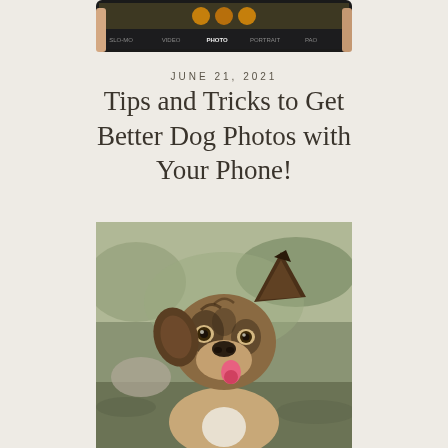[Figure (photo): A hand holding a smartphone showing camera mode options including SLO-MO, VIDEO, PHOTO, PORTRAIT, PAO at the bottom, with a bright screen visible]
JUNE 21, 2021
Tips and Tricks to Get Better Dog Photos with Your Phone!
[Figure (photo): A brindle dog with one ear perked up, tilting its head, photographed outdoors with a blurred green/brown background. The dog has a pink collar and white chest patch.]